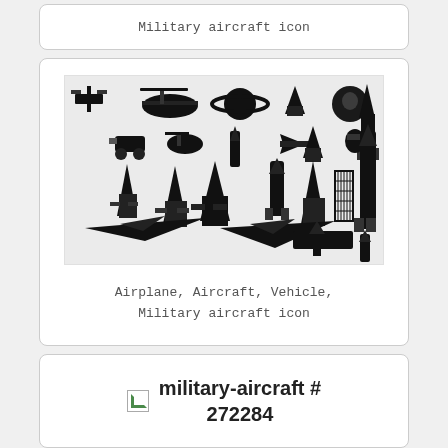Military aircraft icon
[Figure (illustration): Collection of black silhouette icons of military aircraft, spacecraft, rockets, helicopters, satellites, and space shuttle vehicles arranged in a grid on a light background.]
Airplane, Aircraft, Vehicle, Military aircraft icon
military-aircraft # 272284